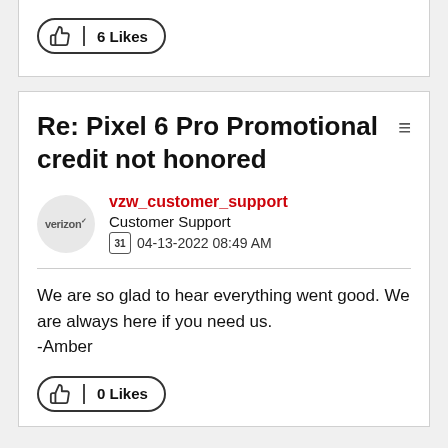[Figure (screenshot): Like button showing 6 Likes]
Re: Pixel 6 Pro Promotional credit not honored
vzw_customer_support
Customer Support
04-13-2022 08:49 AM
We are so glad to hear everything went good. We are always here if you need us.
-Amber
[Figure (screenshot): Like button showing 0 Likes]